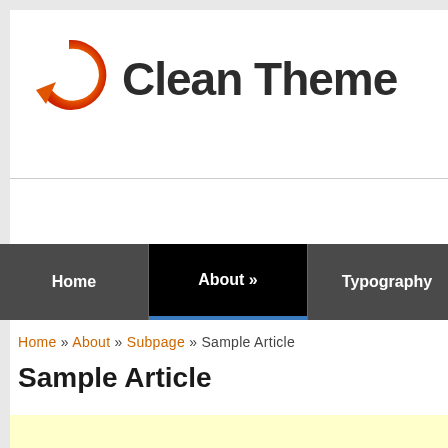[Figure (logo): Circular arrow logo with orange to yellow gradient — the Clean Theme site logo]
Clean Theme
Drupal ar
Home | About » | Typography | Block Regions
Home » About » Subpage » Sample Article
Sample Article